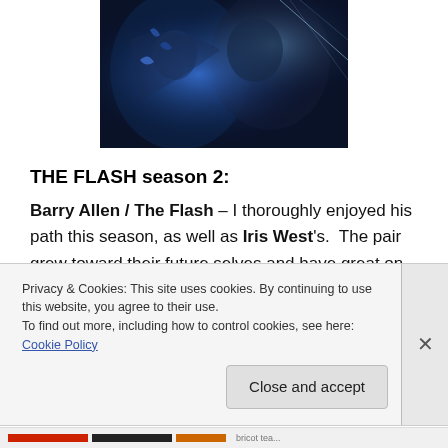[Figure (photo): Partial view of a dark sci-fi movie poster showing a figure with blue electric effects and dark tones, likely from The Flash]
THE FLASH season 2:
Barry Allen / The Flash – I thoroughly enjoyed his path this season, as well as Iris West's.  The pair grew toward their future selves and have great on screen chemistry together.  I will discuss something here though that
Privacy & Cookies: This site uses cookies. By continuing to use this website, you agree to their use.
To find out more, including how to control cookies, see here: Cookie Policy
Close and accept